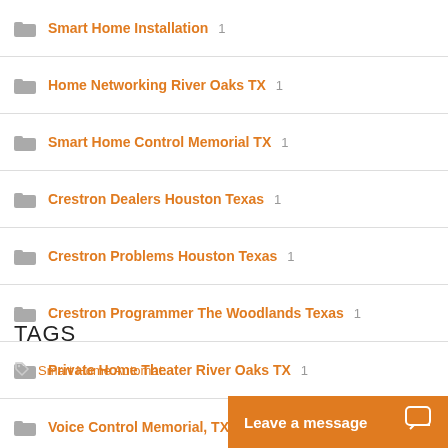Smart Home Installation 1
Home Networking River Oaks TX 1
Smart Home Control Memorial TX 1
Crestron Dealers Houston Texas 1
Crestron Problems Houston Texas 1
Crestron Programmer The Woodlands Texas 1
Private Home Theater River Oaks TX 1
Voice Control Memorial, TX 1
Voice Control 1
TAGS
Smart Home Automat…